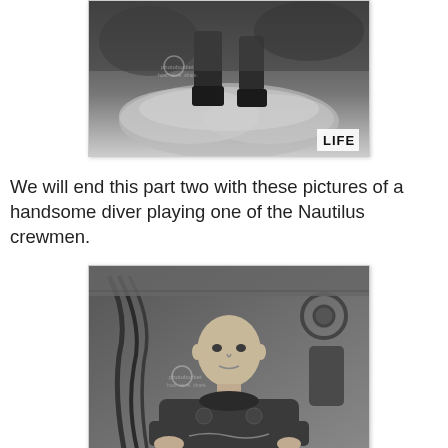[Figure (photo): Black and white photograph of a diver's lower body and legs, with smoke or dust clouds around them, with a LIFE magazine watermark in the corner. Photobucket watermark overlay visible.]
We will end this part two with these pictures of a handsome diver playing one of the Nautilus crewmen.
[Figure (photo): Black and white photograph of a young man with a shaved head in a diving suit, sitting in what appears to be a staging area with hoses and equipment visible behind him. Photobucket watermark overlay visible.]